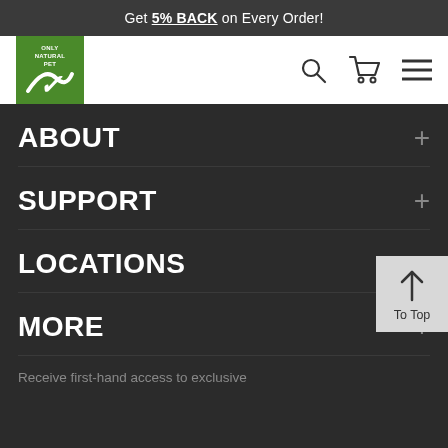Get 5% BACK on Every Order!
[Figure (logo): Only Natural Pet logo - green square with white text and stylized dog/cat graphic]
ABOUT
SUPPORT
LOCATIONS
MORE
Receive first-hand access to exclusive